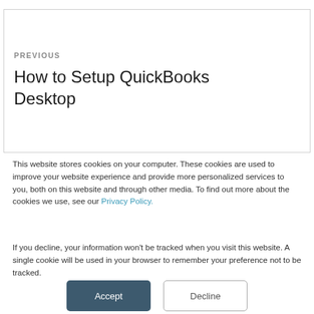PREVIOUS
How to Setup QuickBooks Desktop
This website stores cookies on your computer. These cookies are used to improve your website experience and provide more personalized services to you, both on this website and through other media. To find out more about the cookies we use, see our Privacy Policy.
If you decline, your information won’t be tracked when you visit this website. A single cookie will be used in your browser to remember your preference not to be tracked.